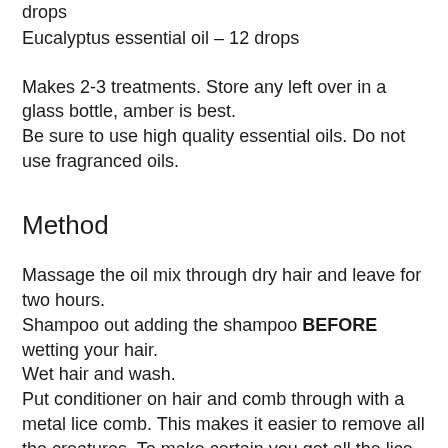drops
Eucalyptus essential oil – 12 drops
Makes 2-3 treatments. Store any left over in a glass bottle, amber is best.
Be sure to use high quality essential oils. Do not use fragranced oils.
Method
Massage the oil mix through dry hair and leave for two hours.
Shampoo out adding the shampoo BEFORE wetting your hair.
Wet hair and wash.
Put conditioner on hair and comb through with a metal lice comb. This makes it easier to remove all the creatures. To make certain you get all the lice and nits divide the hair into segments and thoroughly comb